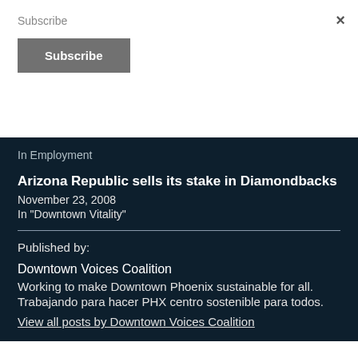Subscribe
Subscribe
×
In Employment
Arizona Republic sells its stake in Diamondbacks
November 23, 2008
In "Downtown Vitality"
Published by:
Downtown Voices Coalition
Working to make Downtown Phoenix sustainable for all.
Trabajando para hacer PHX centro sostenible para todos.
View all posts by Downtown Voices Coalition